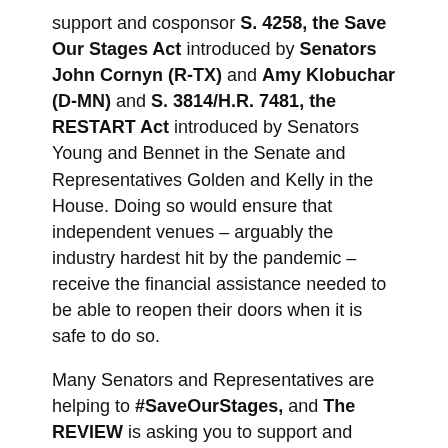support and cosponsor S. 4258, the Save Our Stages Act introduced by Senators John Cornyn (R-TX) and Amy Klobuchar (D-MN) and S. 3814/H.R. 7481, the RESTART Act  introduced by Senators Young and Bennet in the Senate and Representatives Golden and Kelly in the House.  Doing so would ensure that independent venues – arguably the industry hardest hit by the pandemic – receive the financial assistance needed to be able to reopen their doors when it is safe to do so.
Many Senators and Representatives  are helping to #SaveOurStages, and The REVIEW is  asking you to support and cosponsor S. 4258, the Save Our Stages Act  and S. 3814/H.R. 7481, the RESTART Act.   Doing so would ensure that independent venues – arguably